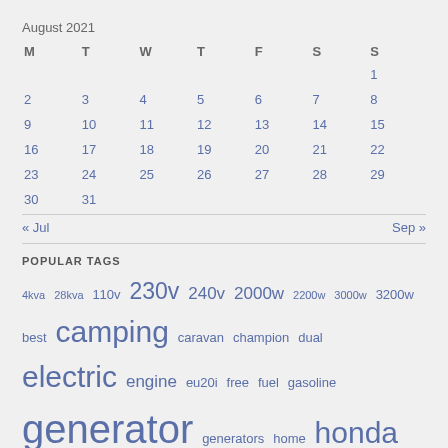August 2021
| M | T | W | T | F | S | S |
| --- | --- | --- | --- | --- | --- | --- |
|  |  |  |  |  |  | 1 |
| 2 | 3 | 4 | 5 | 6 | 7 | 8 |
| 9 | 10 | 11 | 12 | 13 | 14 | 15 |
| 16 | 17 | 18 | 19 | 20 | 21 | 22 |
| 23 | 24 | 25 | 26 | 27 | 28 | 29 |
| 30 | 31 |  |  |  |  |  |
« Jul    Sep »
POPULAR TAGS
4kva 28kva 110v 230v 240v 2000w 2200w 3000w 3200w best camping caravan champion dual electric engine eu20i free fuel gasoline generator generators home honda hyundai inverter only petrol portable